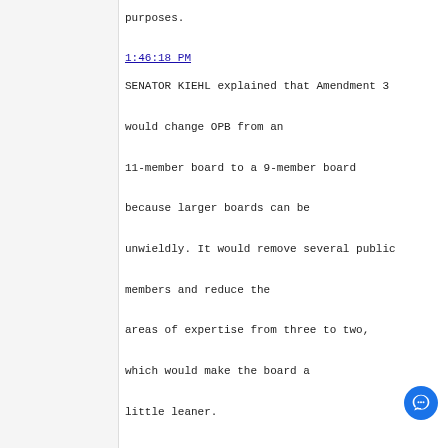purposes.
1:46:18 PM
SENATOR KIEHL explained that Amendment 3 would change OPB from an 11-member board to a 9-member board because larger boards can be unwieldly. It would remove several public members and reduce the areas of expertise from three to two, which would make the board a little leaner.
1:47:21 PM
ROB CARPENTER, Deputy Commissioner, Department of Transportation and Public Facilities (DOTPF), Juneau, Alaska, responded that